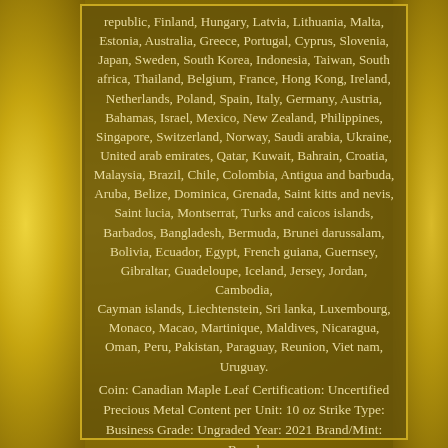republic, Finland, Hungary, Latvia, Lithuania, Malta, Estonia, Australia, Greece, Portugal, Cyprus, Slovenia, Japan, Sweden, South Korea, Indonesia, Taiwan, South africa, Thailand, Belgium, France, Hong Kong, Ireland, Netherlands, Poland, Spain, Italy, Germany, Austria, Bahamas, Israel, Mexico, New Zealand, Philippines, Singapore, Switzerland, Norway, Saudi arabia, Ukraine, United arab emirates, Qatar, Kuwait, Bahrain, Croatia, Malaysia, Brazil, Chile, Colombia, Antigua and barbuda, Aruba, Belize, Dominica, Grenada, Saint kitts and nevis, Saint lucia, Montserrat, Turks and caicos islands, Barbados, Bangladesh, Bermuda, Brunei darussalam, Bolivia, Ecuador, Egypt, French guiana, Guernsey, Gibraltar, Guadeloupe, Iceland, Jersey, Jordan, Cambodia, Cayman islands, Liechtenstein, Sri lanka, Luxembourg, Monaco, Macao, Martinique, Maldives, Nicaragua, Oman, Peru, Pakistan, Paraguay, Reunion, Viet nam, Uruguay.
Coin: Canadian Maple Leaf Certification: Uncertified Precious Metal Content per Unit: 10 oz Strike Type: Business Grade: Ungraded Year: 2021 Brand/Mint: Royal Canadian Mint Composition: Silver